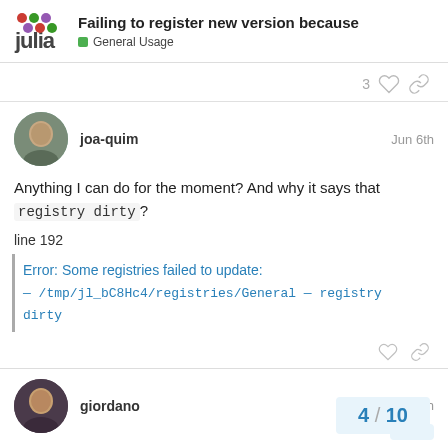Failing to register new version because — General Usage
3 ♡ 🔗
joa-quim  Jun 6th
Anything I can do for the moment? And why it says that registry dirty?
line 192
Error: Some registries failed to update:
— /tmp/jl_bC8Hc4/registries/General — registry dirty
giordano  Jun 6th
4 / 10